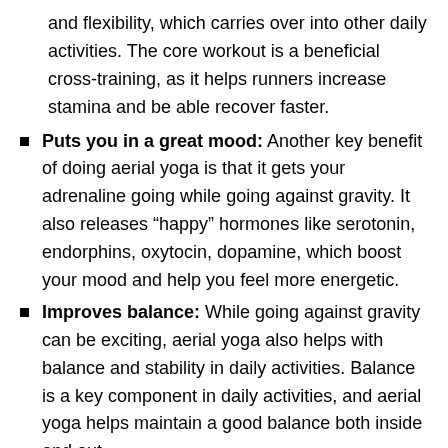and flexibility, which carries over into other daily activities. The core workout is a beneficial cross-training, as it helps runners increase stamina and be able recover faster.
Puts you in a great mood: Another key benefit of doing aerial yoga is that it gets your adrenaline going while going against gravity. It also releases “happy” hormones like serotonin, endorphins, oxytocin, dopamine, which boost your mood and help you feel more energetic.
Improves balance: While going against gravity can be exciting, aerial yoga also helps with balance and stability in daily activities. Balance is a key component in daily activities, and aerial yoga helps maintain a good balance both inside and out.
Aids digestion: The different types of stretches and